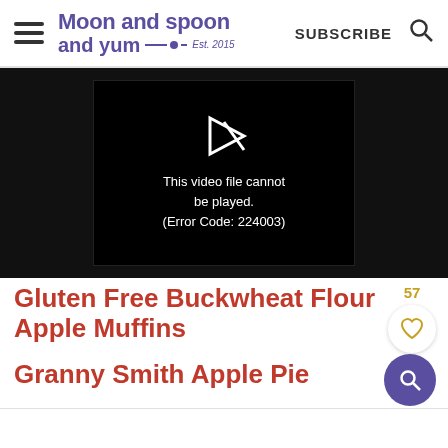Moon and spoon and yum — Est. 2015 | SUBSCRIBE
[Figure (screenshot): Video player showing error: This video file cannot be played. (Error Code: 224003)]
Gluten Free Buckwheat Flour Apple Muffins
Granny Smith Apple Pie